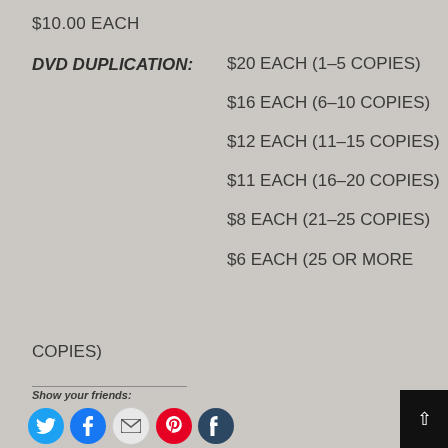$10.00 EACH
DVD DUPLICATION: $20 EACH (1-5 COPIES)
$16 EACH (6-10 COPIES)
$12 EACH (11-15 COPIES)
$11 EACH (16-20 COPIES)
$8 EACH (21-25 COPIES)
$6 EACH (25 OR MORE COPIES)
Show your friends:
Like this: